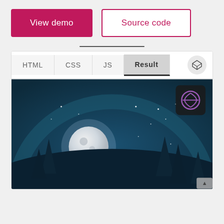[Figure (screenshot): UI screenshot showing two buttons: 'View demo' (filled crimson) and 'Source code' (outlined crimson), a horizontal divider, a CodePen-style editor tab bar with HTML/CSS/JS/Result tabs, and a night scene illustration with moon, stars, trees, and a Gridle/app logo icon.]